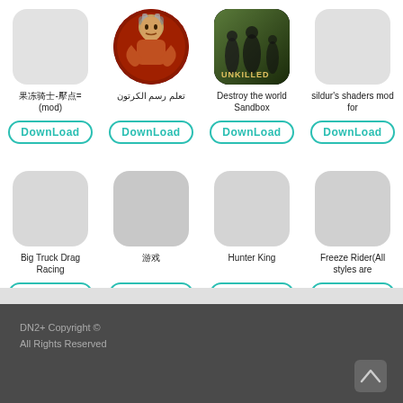[Figure (screenshot): App grid showing 8 app icons in 2 rows of 4, each with a name and Download button. Row 1: unnamed app (gray icon), تعلم رسم الكرتون (warrior icon), Destroy the world Sandbox (unkilled game icon), sildur's shaders mod for (gray icon). Row 2: Big Truck Drag Racing (gray icon), unnamed Chinese app (gray icon), Hunter King (gray icon), Freeze Rider(All styles are (gray icon).]
DN2+ Copyright © All Rights Reserved